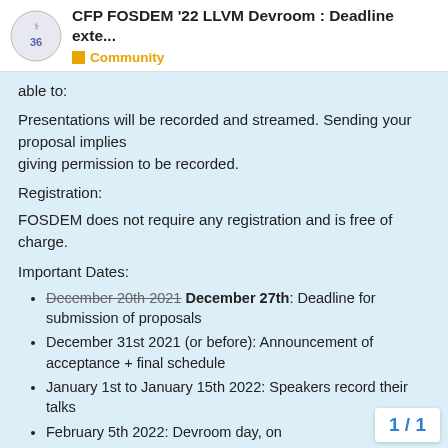CFP FOSDEM '22 LLVM Devroom : Deadline exte... | Community
able to:
Presentations will be recorded and streamed. Sending your proposal implies giving permission to be recorded.
Registration:
FOSDEM does not require any registration and is free of charge.
Important Dates:
December 20th 2021 December 27th: Deadline for submission of proposals
December 31st 2021 (or before): Announcement of acceptance + final schedule
January 1st to January 15th 2022: Speakers record their talks
February 5th 2022: Devroom day, on
1 / 1